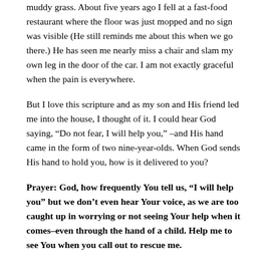muddy grass. About five years ago I fell at a fast-food restaurant where the floor was just mopped and no sign was visible (He still reminds me about this when we go there.) He has seen me nearly miss a chair and slam my own leg in the door of the car. I am not exactly graceful when the pain is everywhere.
But I love this scripture and as my son and His friend led me into the house, I thought of it. I could hear God saying, “Do not fear, I will help you,” –and His hand came in the form of two nine-year-olds. When God sends His hand to hold you, how is it delivered to you?
Prayer: God, how frequently You tell us, “I will help you” but we don’t even hear Your voice, as we are too caught up in worrying or not seeing Your help when it comes–even through the hand of a child. Help me to see You when you call out to rescue me.